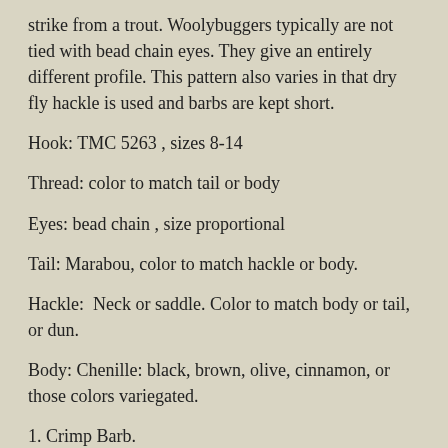strike from a trout. Woolybuggers typically are not tied with bead chain eyes. They give an entirely different profile. This pattern also varies in that dry fly hackle is used and barbs are kept short.
Hook: TMC 5263 , sizes 8-14
Thread: color to match tail or body
Eyes: bead chain , size proportional
Tail: Marabou, color to match hackle or body.
Hackle:  Neck or saddle. Color to match body or tail, or dun.
Body: Chenille: black, brown, olive, cinnamon, or those colors variegated.
1. Crimp Barb.
2. Attach thread behind eye. Touching wraps 1/4 back on shank then forward to one hook eye behind e… ▲ Back to top
3. Cut bead chain with wire cutters into sets of 2.